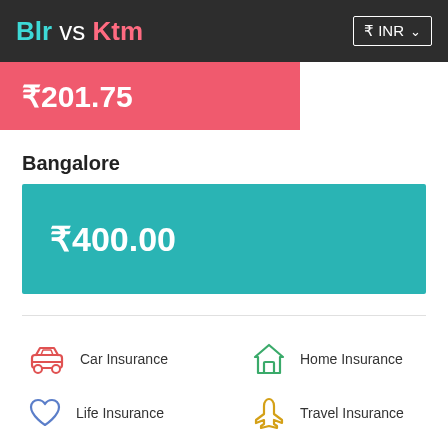Blr vs Ktm  ₹ INR
[Figure (other): Red bar showing price ₹201.75 (partially visible)]
Bangalore
[Figure (other): Teal bar showing price ₹400.00]
Car Insurance
Home Insurance
Life Insurance
Travel Insurance
Pet Insurance
Roadside Assistance